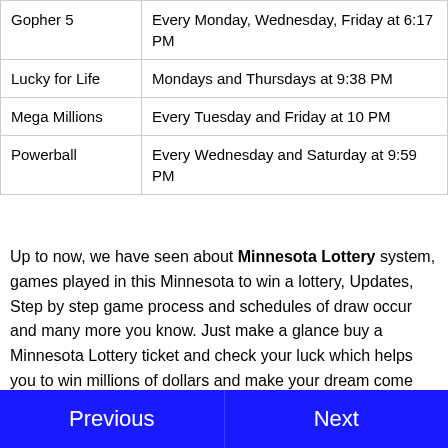| Game | Draw Schedule |
| --- | --- |
| Gopher 5 | Every Monday, Wednesday, Friday at 6:17 PM |
| Lucky for Life | Mondays and Thursdays at 9:38 PM |
| Mega Millions | Every Tuesday and Friday at 10 PM |
| Powerball | Every Wednesday and Saturday at 9:59 PM |
Up to now, we have seen about Minnesota Lottery system, games played in this Minnesota to win a lottery, Updates, Step by step game process and schedules of draw occur and many more you know. Just make a glance buy a Minnesota Lottery ticket and check your luck which helps you to win millions of dollars and make your dream come true.
Previous   Next